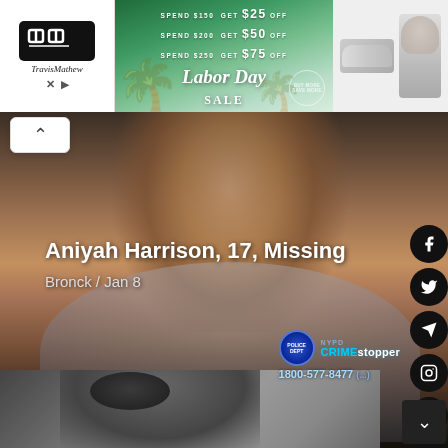[Figure (photo): Advertisement banner: TravisMathew brand logo on left, Labor Day Sale promotion in center with palm trees and discount tiers ($25 off, $50 off, $75 off), athletic shoes and polo shirt on right]
[Figure (photo): Photo of Aniyah Harrison, 17, a Missing person from Bronx, reported January 8. NYPD Crime Stoppers logo and phone number 1800-577-8477 visible. Social media share buttons on right side. Scroll navigation buttons visible.]
Aniyah Harrison, 17, Missing
Bronck / Jan 8
1800-577-8477
[Figure (photo): Partial view of another missing person photo at bottom of page, person wearing a dark hat]